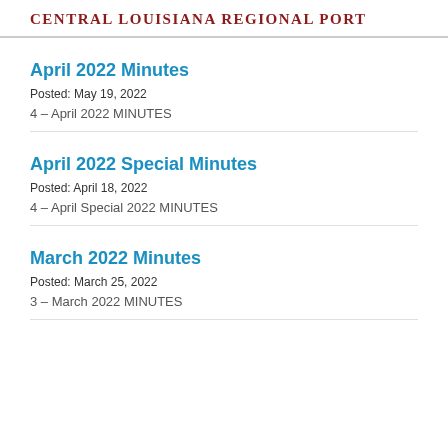Central Louisiana Regional Port
April 2022 Minutes
Posted: May 19, 2022
4 – April 2022 MINUTES
April 2022 Special Minutes
Posted: April 18, 2022
4 – April Special 2022 MINUTES
March 2022 Minutes
Posted: March 25, 2022
3 – March 2022 MINUTES